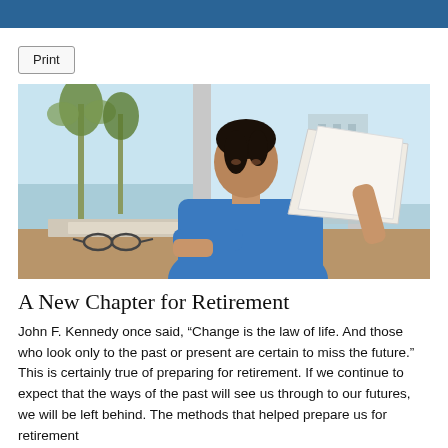[Figure (photo): A professional woman in a blue shirt sitting at a desk, reviewing documents/papers, with large windows and palm trees visible in the background.]
A New Chapter for Retirement
John F. Kennedy once said, “Change is the law of life. And those who look only to the past or present are certain to miss the future.” This is certainly true of preparing for retirement. If we continue to expect that the ways of the past will see us through to our futures, we will be left behind. The methods that helped prepare us for retirement